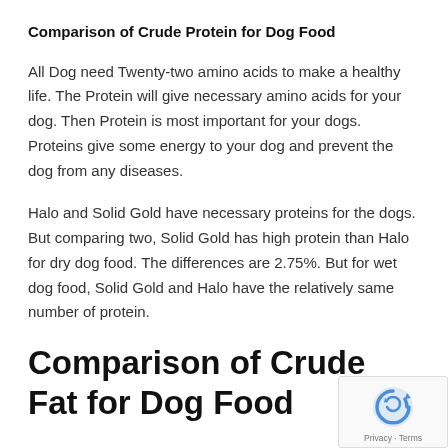Comparison of Crude Protein for Dog Food
All Dog need Twenty-two amino acids to make a healthy life. The Protein will give necessary amino acids for your dog. Then Protein is most important for your dogs. Proteins give some energy to your dog and prevent the dog from any diseases.
Halo and Solid Gold have necessary proteins for the dogs. But comparing two, Solid Gold has high protein than Halo for dry dog food. The differences are 2.75%. But for wet dog food, Solid Gold and Halo have the relatively same number of protein.
Comparison of Crude Fat for Dog Food